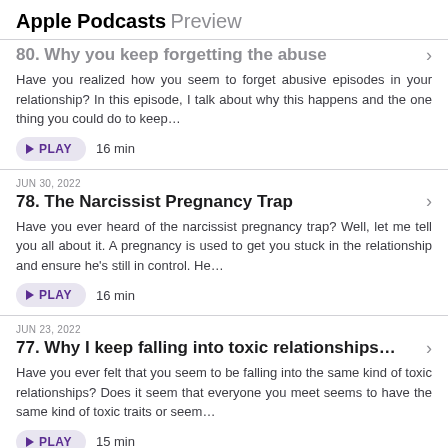Apple Podcasts Preview
80. Why you keep forgetting the abuse
Have you realized how you seem to forget abusive episodes in your relationship? In this episode, I talk about why this happens and the one thing you could do to keep...
PLAY  16 min
JUN 30, 2022
78. The Narcissist Pregnancy Trap
Have you ever heard of the narcissist pregnancy trap? Well, let me tell you all about it. A pregnancy is used to get you stuck in the relationship and ensure he's still in control. He...
PLAY  16 min
JUN 23, 2022
77. Why I keep falling into toxic relationships...
Have you ever felt that you seem to be falling into the same kind of toxic relationships? Does it seem that everyone you meet seems to have the same kind of toxic traits or seem...
PLAY  15 min